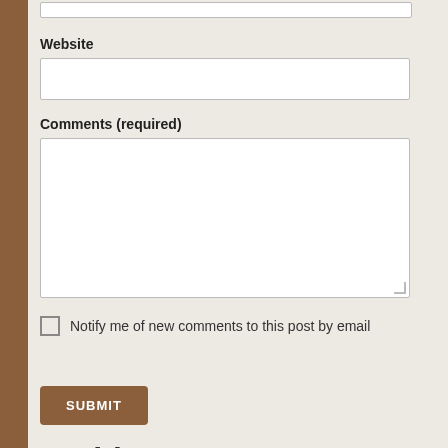Website
Comments (required)
Notify me of new comments to this post by email
SUBMIT
Archives
November 2012
February 2011